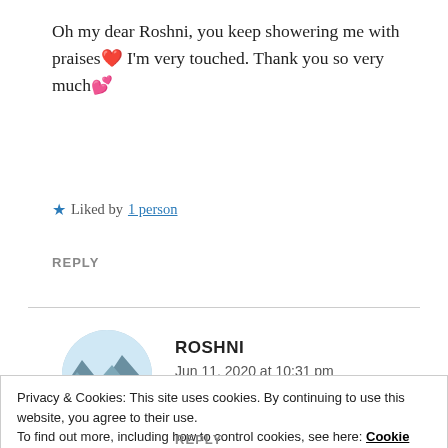Oh my dear Roshni, you keep showering me with praises❤ I'm very touched. Thank you so very much💕
★ Liked by 1 person
REPLY
[Figure (photo): Circular avatar photo of Roshni showing a person in front of a scenic mountain background]
ROSHNI
Jun 11, 2020 at 10:31 pm
Privacy & Cookies: This site uses cookies. By continuing to use this website, you agree to their use.
To find out more, including how to control cookies, see here: Cookie Policy
Close and accept
REPLY